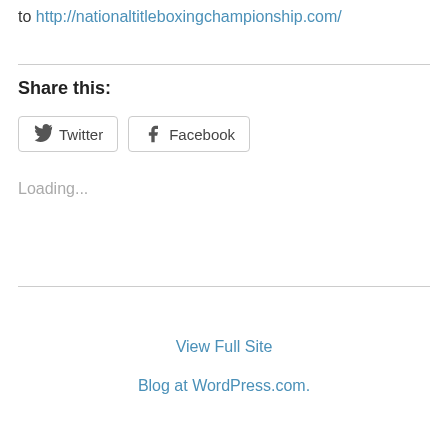to http://nationaltitleboxingchampionship.com/
Share this:
Twitter  Facebook
Loading...
View Full Site
Blog at WordPress.com.